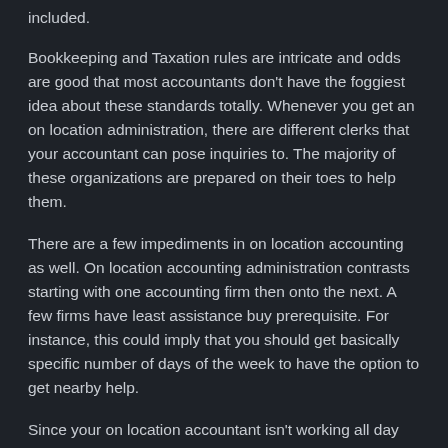included.
Bookkeeping and Taxation rules are intricate and odds are good that most accountants don't have the foggiest idea about these standards totally. Whenever you get an on location administration, there are different clerks that your accountant can pose inquiries to. The majority of these organizations are prepared on their toes to help them.
There are a few impediments in on location accounting as well. On location accounting administration contrasts starting with one accounting firm then onto the next. A few firms have least assistance buy prerequisite. For instance, this could imply that you should get basically specific number of days of the week to have the option to get nearby help.
Since your on location accountant isn't working all day for you, you will in any case have to accomplish some work like gathering solicitations and bills during when your the person isn't working.
For Offsite accounting, the accounting firm accomplishes the work in their office. This sort of administration is additionally called virtual accounting administration (no it's anything but a PC working for you, a genuine individual deals with your documents). They additionally utilize telephonic and in office based correspondence for